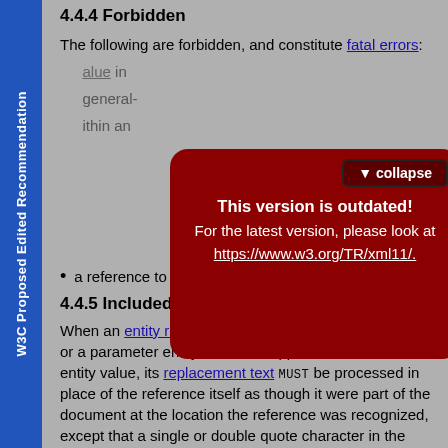W3C Proposed Edited Recommendation
4.4.4 Forbidden
The following are forbidden, and constitute fatal errors:
[Figure (infographic): Red overlay box with 'collapse' button. Contains warning: 'This version is outdated! For the latest version, please look at https://www.w3.org/TR/xml11/.']
a reference to an external entity in an attribute value.
4.4.5 Included in Literal
When an entity reference appears in an attribute value, or a parameter entity reference appears in a literal entity value, its replacement text MUST be processed in place of the reference itself as though it were part of the document at the location the reference was recognized, except that a single or double quote character in the replacement text